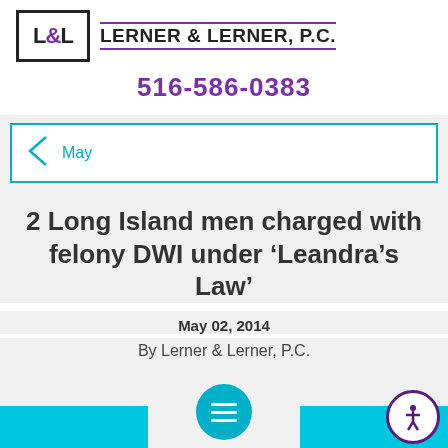[Figure (logo): Lerner & Lerner P.C. law firm logo with L&L box and firm name with purple underlines]
516-586-0383
May
2 Long Island men charged with felony DWI under ‘Leandra’s Law’
May 02, 2014
By Lerner & Lerner, P.C.